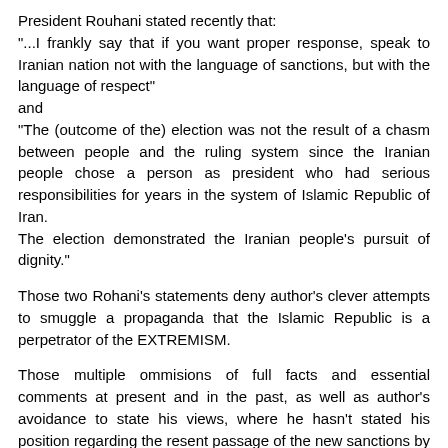President Rouhani stated recently that:
"...I frankly say that if you want proper response, speak to Iranian nation not with the language of sanctions, but with the language of respect"
and
"The (outcome of the) election was not the result of a chasm between people and the ruling system since the Iranian people chose a person as president who had serious responsibilities for years in the system of Islamic Republic of Iran.
The election demonstrated the Iranian people's pursuit of dignity."
Those two Rohani's statements deny author's clever attempts to smuggle a propaganda that the Islamic Republic is a perpetrator of the EXTREMISM.
Those multiple ommisions of full facts and essential comments at present and in the past, as well as author's avoidance to state his views, where he hasn't stated his position regarding the resent passage of the new sanctions by the US Hose, yet and where he had also ignored to